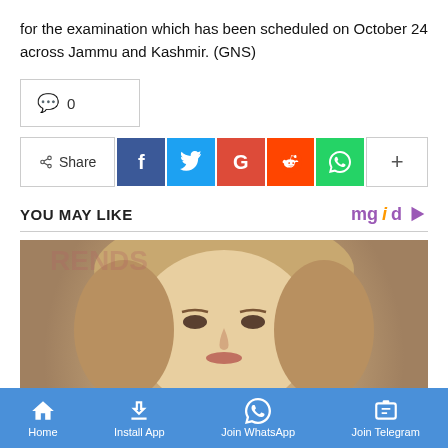for the examination which has been scheduled on October 24 across Jammu and Kashmir. (GNS)
💬 0
Share — Facebook, Twitter, Google+, Reddit, WhatsApp, More
YOU MAY LIKE
[Figure (photo): Close-up photo of a blonde woman's face]
Home | Install App | Join WhatsApp | Join Telegram